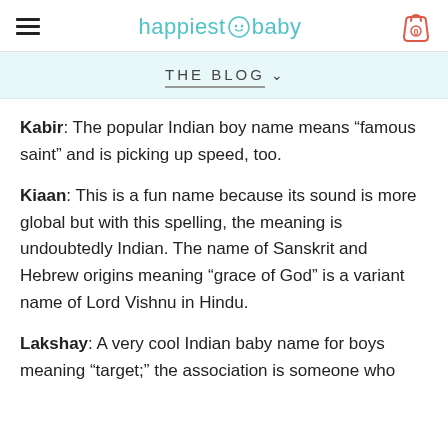happiest baby
THE BLOG
Kabir: The popular Indian boy name means “famous saint” and is picking up speed, too.
Kiaan: This is a fun name because its sound is more global but with this spelling, the meaning is undoubtedly Indian. The name of Sanskrit and Hebrew origins meaning “grace of God” is a variant name of Lord Vishnu in Hindu.
Lakshay: A very cool Indian baby name for boys meaning “target;” the association is someone who